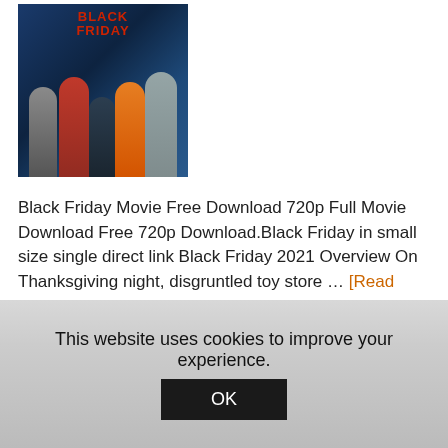[Figure (photo): Black Friday movie poster showing group of characters against a dark blue background with 'BLACK FRIDAY' text at the top in red]
Black Friday Movie Free Download 720p Full Movie Download Free 720p Download.Black Friday in small size single direct link Black Friday 2021 Overview On Thanksgiving night, disgruntled toy store … [Read more...]
This website uses cookies to improve your experience.